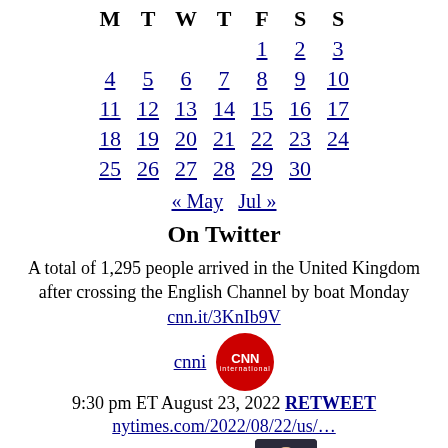| M | T | W | T | F | S | S |
| --- | --- | --- | --- | --- | --- | --- |
|  |  |  |  | 1 | 2 | 3 |
| 4 | 5 | 6 | 7 | 8 | 9 | 10 |
| 11 | 12 | 13 | 14 | 15 | 16 | 17 |
| 18 | 19 | 20 | 21 | 22 | 23 | 24 |
| 25 | 26 | 27 | 28 | 29 | 30 |  |
« May   Jul »
On Twitter
A total of 1,295 people arrived in the United Kingdom after crossing the English Channel by boat Monday cnn.it/3KnIb9V
cnni  9:30 pm ET August 23, 2022 RETWEET
nytimes.com/2022/08/22/us/…
sarasidnerCNN  9:00 pm ET August 23, 2022 RETWEET
British Airways has announced it plans to cut thousands of flights from its winter schedule because of airport pass■twitter.com/i/web/status/1…dm